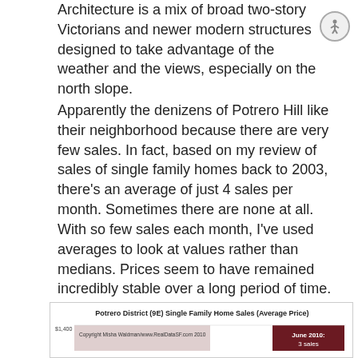Architecture is a mix of broad two-story Victorians and newer modern structures designed to take advantage of the weather and the views, especially on the north slope.
Apparently the denizens of Potrero Hill like their neighborhood because there are very few sales. In fact, based on my review of sales of single family homes back to 2003, there's an average of just 4 sales per month. Sometimes there are none at all. With so few sales each month, I've used averages to look at values rather than medians. Prices seem to have remained incredibly stable over a long period of time. This chart shows price on a per square foot basis (click to enlarge).
[Figure (line-chart): Partial view of a line chart showing Potrero District (9E) Single Family Home Sales Average Price. Y-axis starts at $1,400. Legend shows 'June 2010: 3 sales' in dark red. Copyright Misha Waldman/www.RealDataSF.com 2010.]